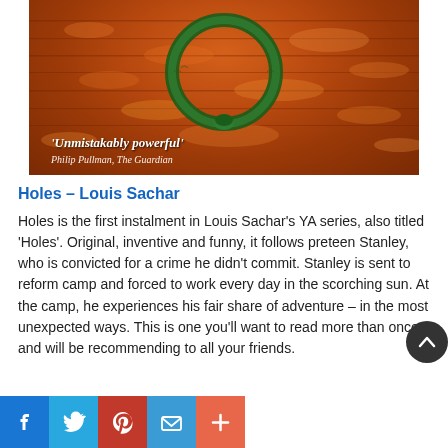[Figure (photo): Book cover of 'Holes' by Louis Sachar showing an orange-brown textured desert background with a green snake forming a circle, and a quote 'Unmistakably powerful' by Philip Pullman, The Guardian]
Holes – Louis Sachar
Holes is the first instalment in Louis Sachar's YA series, also titled 'Holes'. Original, inventive and funny, it follows preteen Stanley, who is convicted for a crime he didn't commit. Stanley is sent to reform camp and forced to work every day in the scorching sun. At the camp, he experiences his fair share of adventure – in the most unexpected ways. This is one you'll want to read more than once and will be recommending to all your friends.
[Figure (infographic): Social media sharing buttons: Facebook (blue), Twitter (light blue), Pinterest (red), Email/Mail (blue), More (orange-red)]